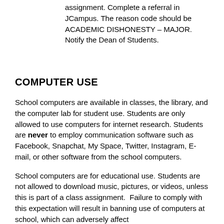assignment. Complete a referral in JCampus. The reason code should be ACADEMIC DISHONESTY – MAJOR. Notify the Dean of Students.
COMPUTER USE
School computers are available in classes, the library, and the computer lab for student use. Students are only allowed to use computers for internet research. Students are never to employ communication software such as Facebook, Snapchat, My Space, Twitter, Instagram, E-mail, or other software from the school computers.
School computers are for educational use. Students are not allowed to download music, pictures, or videos, unless this is part of a class assignment. Failure to comply with this expectation will result in banning use of computers at school, which can adversely affect